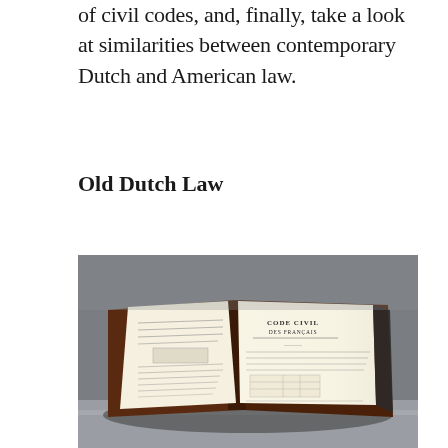of civil codes, and, finally, take a look at similarities between contemporary Dutch and American law.
Old Dutch Law
[Figure (photo): An open antique book displayed on a surface. The right page shows the title 'CODE CIVIL DES FRANÇAIS' in large text. The left page contains dense printed text. The book has a dark leather binding with aged pages, photographed in dim museum-style lighting against a grey background.]